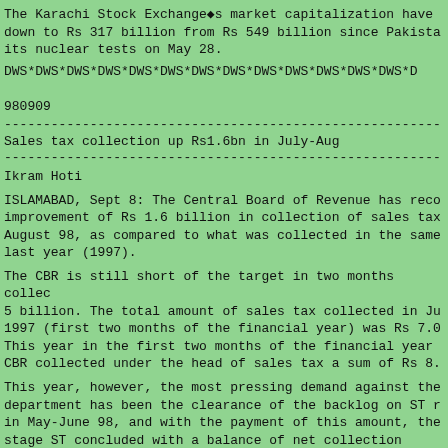The Karachi Stock Exchange◆s market capitalization have down to Rs 317 billion from Rs 549 billion since Pakista its nuclear tests on May 28.
DWS*DWS*DWS*DWS*DWS*DWS*DWS*DWS*DWS*DWS*DWS*DWS*DWS*D
980909
------------------------------------------------------------
Sales tax collection up Rs1.6bn in July-Aug
------------------------------------------------------------
Ikram Hoti
ISLAMABAD, Sept 8: The Central Board of Revenue has reco improvement of Rs 1.6 billion in collection of sales tax August 98, as compared to what was collected in the same last year (1997).
The CBR is still short of the target in two months colle 5 billion. The total amount of sales tax collected in Ju 1997 (first two months of the financial year) was Rs 7.0 This year in the first two months of the financial year  CBR collected under the head of sales tax a sum of Rs 8.
This year, however, the most pressing demand against the department has been the clearance of the backlog on ST r in May-June 98, and with the payment of this amount, the stage ST concluded with a balance of net collection minus million, after having made the payment of a huge sums to claimants.